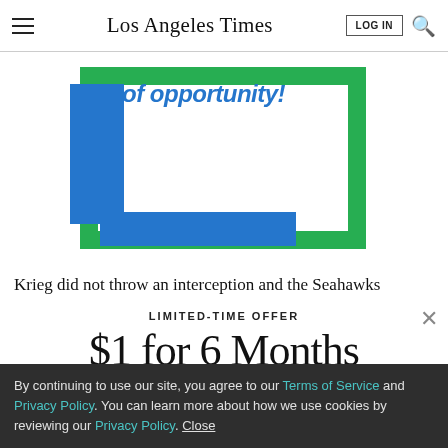Los Angeles Times | LOG IN | Search
[Figure (illustration): Partial advertisement graphic with green border frame, blue rectangles, and blue italic text reading 'of opportunity!' over a white background]
Krieg did not throw an interception and the Seahawks
LIMITED-TIME OFFER
$1 for 6 Months
SUBSCRIBE NOW
By continuing to use our site, you agree to our Terms of Service and Privacy Policy. You can learn more about how we use cookies by reviewing our Privacy Policy. Close